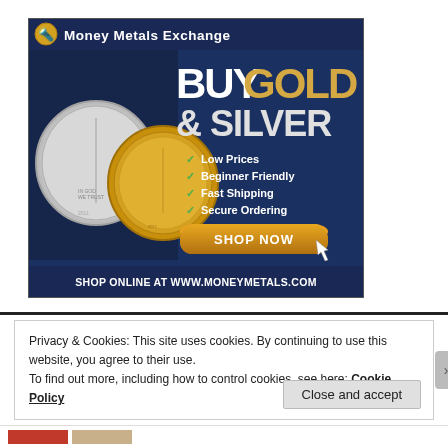[Figure (advertisement): Money Metals Exchange advertisement. Dark navy blue background with large text 'BUY GOLD & SILVER'. Left side shows silver and gold coins. Right side has checklist: Low Prices, Beginner Friendly, Fast Shipping, Secure Ordering. Orange 'SHOP NOW' button with cursor arrow. Footer: SHOP ONLINE AT WWW.MONEYMETALS.COM]
Privacy & Cookies: This site uses cookies. By continuing to use this website, you agree to their use.
To find out more, including how to control cookies, see here: Cookie Policy
Close and accept